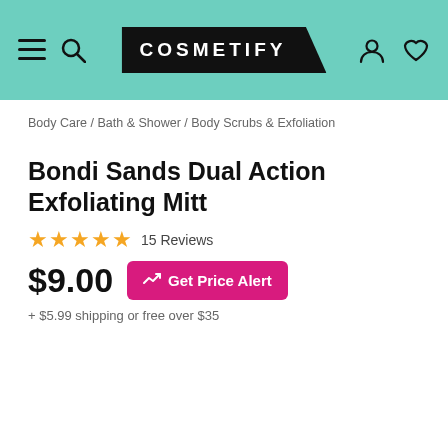COSMETIFY
Body Care / Bath & Shower / Body Scrubs & Exfoliation
Bondi Sands Dual Action Exfoliating Mitt
★★★★★ 15 Reviews
$9.00  Get Price Alert
+ $5.99 shipping or free over $35